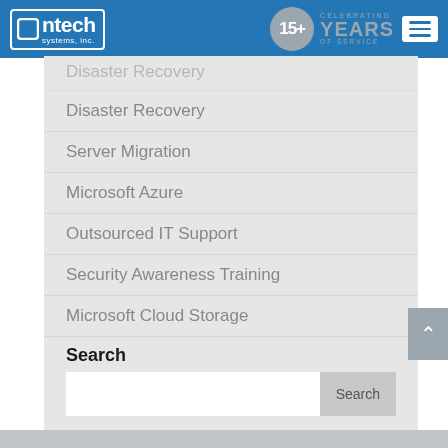[Figure (logo): Ontech Systems Inc logo — white square O icon with 'ntech' text and 'systems, inc.' subtext on blue background]
[Figure (infographic): 15+ years of service badge — gray circle with '15+' and 'CELEBRATING YEARS OF SERVICE' text]
Disaster Recovery
Server Migration
Microsoft Azure
Outsourced IT Support
Security Awareness Training
Microsoft Cloud Storage
Search
Search button and input field